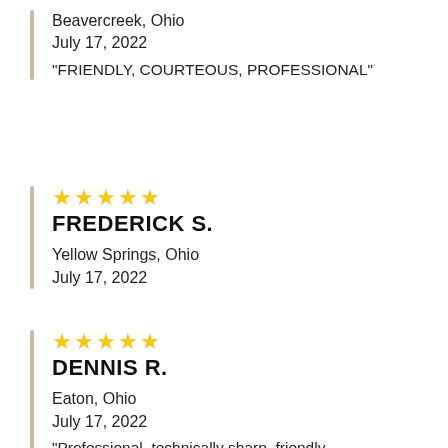Beavercreek, Ohio
July 17, 2022
"FRIENDLY, COURTEOUS, PROFESSIONAL"
★★★★★
FREDERICK S.
Yellow Springs, Ohio
July 17, 2022
★★★★★
DENNIS R.
Eaton, Ohio
July 17, 2022
"Professional, technically sharp, friendly,